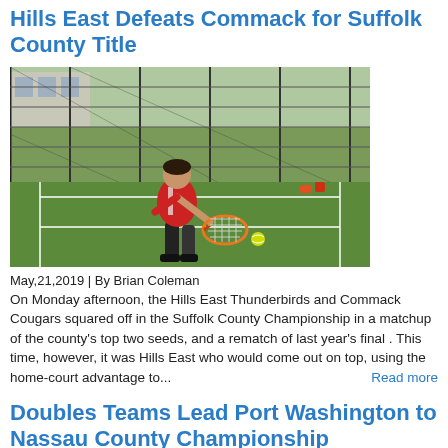Hills East Defeats Commack for Suffolk County Title
[Figure (photo): Tennis player in red shirt hitting a backhand shot on an outdoor court with a chain-link fence in the background]
May,21,2019  | By Brian Coleman
On Monday afternoon, the Hills East Thunderbirds and Commack Cougars squared off in the Suffolk County Championship in a matchup of the county's top two seeds, and a rematch of last year's final . This time, however, it was Hills East who would come out on top, using the home-court advantage to...
Read more
Doubles Teams Lead Port Washington to Nassau County Championship
[Figure (photo): Tennis players on an outdoor court with trees in the background]